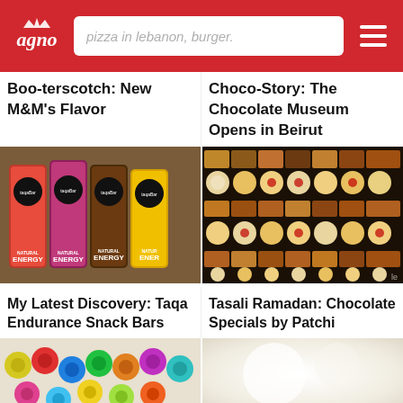agno - search bar: pizza in lebanon, burger.
Boo-terscotch: New M&M's Flavor
Choco-Story: The Chocolate Museum Opens in Beirut
[Figure (photo): Four taqa bar energy snack bars in red, pink, brown, and yellow packaging]
My Latest Discovery: Taqa Endurance Snack Bars
[Figure (photo): Box of assorted chocolates in rows — Tasali Ramadan Chocolate Specials by Patchi]
Tasali Ramadan: Chocolate Specials by Patchi
[Figure (photo): Colorful thread spools photo]
[Figure (photo): Blurred light background image]